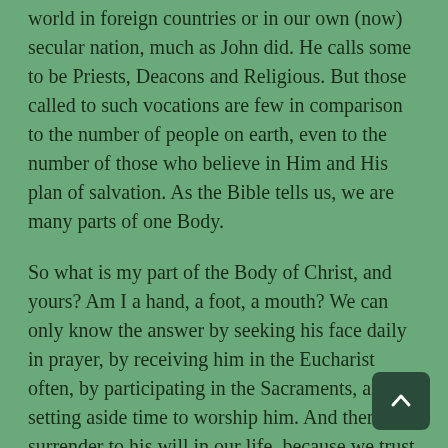world in foreign countries or in our own (now) secular nation, much as John did. He calls some to be Priests, Deacons and Religious. But those called to such vocations are few in comparison to the number of people on earth, even to the number of those who believe in Him and His plan of salvation. As the Bible tells us, we are many parts of one Body.
So what is my part of the Body of Christ, and yours? Am I a hand, a foot, a mouth? We can only know the answer by seeking his face daily in prayer, by receiving him in the Eucharist often, by participating in the Sacraments, and by setting aside time to worship him. And then, we surrender to his will in our life, because we trust that his way is better than our way. He will lead. He will speak in many ways – to us directly in prayer and as we worship, through our Spiritual Director, or through a homily, to name a few ways. And then, we follow, knowing that my part of the Body is exactly who I am today. Then…from